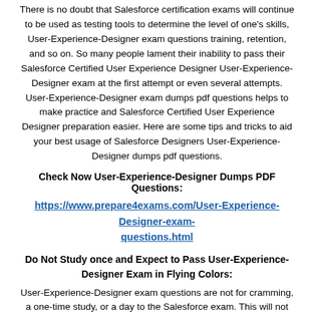There is no doubt that Salesforce certification exams will continue to be used as testing tools to determine the level of one's skills, User-Experience-Designer exam questions training, retention, and so on. So many people lament their inability to pass their Salesforce Certified User Experience Designer User-Experience-Designer exam at the first attempt or even several attempts. User-Experience-Designer exam dumps pdf questions helps to make practice and Salesforce Certified User Experience Designer preparation easier. Here are some tips and tricks to aid your best usage of Salesforce Designers User-Experience-Designer dumps pdf questions.
Check Now User-Experience-Designer Dumps PDF Questions:
https://www.prepare4exams.com/User-Experience-Designer-exam-questions.html
Do Not Study once and Expect to Pass User-Experience-Designer Exam in Flying Colors:
User-Experience-Designer exam questions are not for cramming, a one-time study, or a day to the Salesforce exam. This will not be effective in the rush hour period. Only a few people can show up and pass an User-Experience-Designer certification exam with little or no forms of preparation at all. You need to have a hands-on